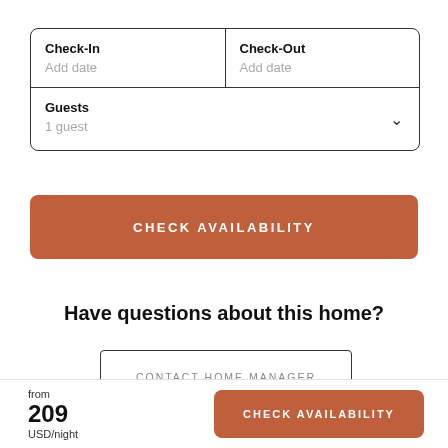| Check-In | Check-Out |
| --- | --- |
| Add date | Add date |
| Guests
1 guest |  |
CHECK AVAILABILITY
Have questions about this home?
CONTACT HOME MANAGER
from
209
USD/night
CHECK AVAILABILITY